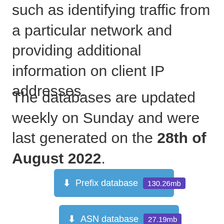such as identifying traffic from a particular network and providing additional information on client IP addresses.
The databases are updated weekly on Sunday and were last generated on the 28th of August 2022.
[Figure (other): Download button for Prefix database, size 130.26mb]
[Figure (other): Download button for ASN database, size 27.19mb]